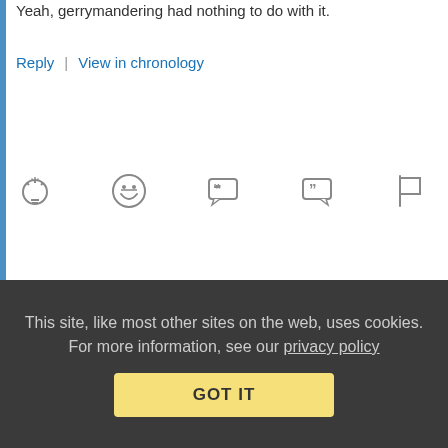Yeah, gerrymandering had nothing to do with it.
Reply | View in chronology
[Figure (other): Row of action icons: lightbulb, laughing emoji, open quote bubble, close quote bubble, flag]
[Figure (other): Thread reply icon with [3] indicator]
Anonymous Coward   January 3, 2013 at 11:15 am
Re: Re: What did you expect?
Ok, lets hear that one more time with Baaaaaahhhhhhhhh lls...
This site, like most other sites on the web, uses cookies. For more information, see our privacy policy
GOT IT